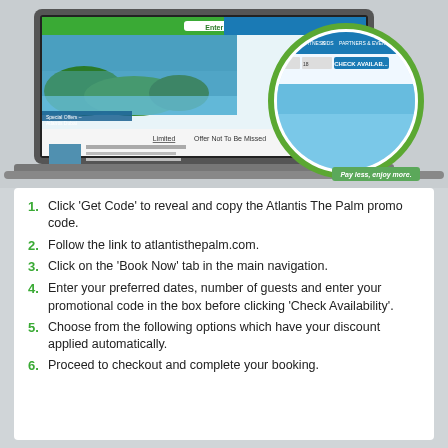[Figure (screenshot): Laptop showing Atlantis The Palm website with 'Enter Code' button highlighted. A circular zoom inset shows the 'Check Availability' booking form with promo code field. 'Pay less, enjoy more.' badge in green at bottom right.]
Click ‘Get Code’ to reveal and copy the Atlantis The Palm promo code.
Follow the link to atlantisthepalm.com.
Click on the ‘Book Now’ tab in the main navigation.
Enter your preferred dates, number of guests and enter your promotional code in the box before clicking ‘Check Availability’.
Choose from the following options which have your discount applied automatically.
Proceed to checkout and complete your booking.